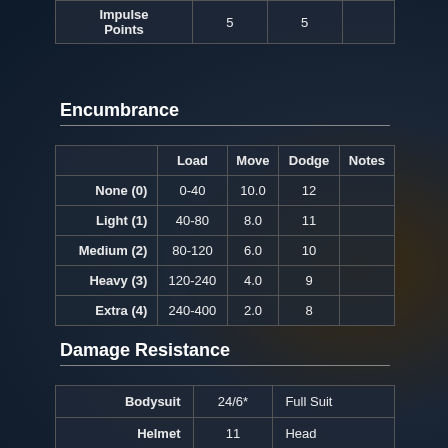| Impulse Points |  |  |  |
| --- | --- | --- | --- |
| Impulse Points | 5 | 5 |  |
Encumbrance
|  | Load | Move | Dodge | Notes |
| --- | --- | --- | --- | --- |
| None (0) | 0-40 | 10.0 | 12 |  |
| Light (1) | 40-80 | 8.0 | 11 |  |
| Medium (2) | 80-120 | 6.0 | 10 |  |
| Heavy (3) | 120-240 | 4.0 | 9 |  |
| Extra (4) | 240-400 | 2.0 | 8 |  |
Damage Resistance
| Bodysuit | 24/6* | Full Suit |
| Helmet | 11 | Head |